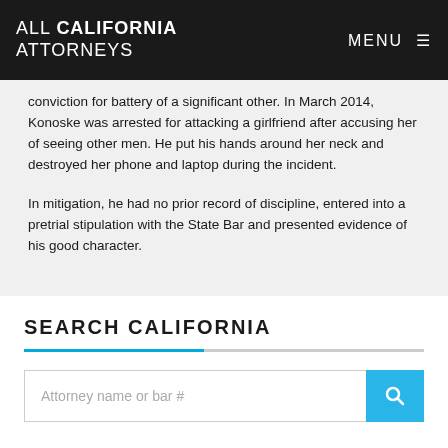ALL CALIFORNIA ATTORNEYS | MENU
conviction for battery of a significant other. In March 2014, Konoske was arrested for attacking a girlfriend after accusing her of seeing other men. He put his hands around her neck and destroyed her phone and laptop during the incident.
In mitigation, he had no prior record of discipline, entered into a pretrial stipulation with the State Bar and presented evidence of his good character.
SEARCH CALIFORNIA